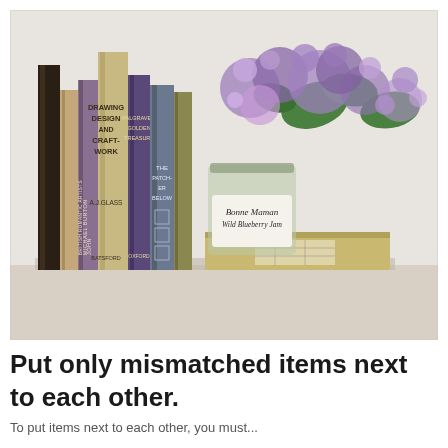[Figure (photo): A shelf with a collection of vintage books standing upright, including titles such as 'Drawing Design and Craft-Work', 'Palgrave's Golden Treasury', 'The Patcher Below', and others by authors including John, Michael Burton, and A.J. Glass. Next to the books is a glass mason jar labeled 'Bonne Maman Wild Blueberry Jam' filled with purple lilac flowers and green leaves. A worn hardcover book lies flat beneath the jar.]
Put only mismatched items next to each other.
To put items next to each other, you must...